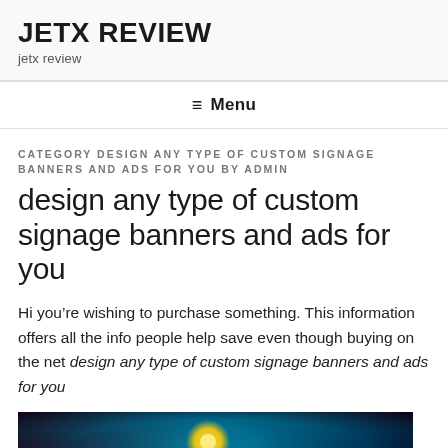JETX REVIEW
jetx review
≡ Menu
CATEGORY DESIGN ANY TYPE OF CUSTOM SIGNAGE BANNERS AND ADS FOR YOU BY ADMIN
design any type of custom signage banners and ads for you
Hi you're wishing to purchase something. This information offers all the info people help save even though buying on the net design any type of custom signage banners and ads for you
[Figure (photo): Photo showing a cyan/teal background with a yellow light bulb or lamp visible, dark vignette edges]